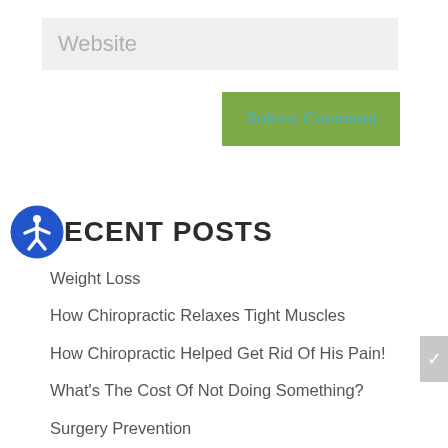Website
Submit Comment
RECENT POSTS
Weight Loss
How Chiropractic Relaxes Tight Muscles
How Chiropractic Helped Get Rid Of His Pain!
What's The Cost Of Not Doing Something?
Surgery Prevention